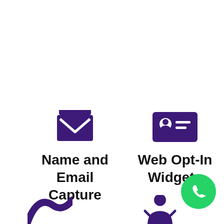[Figure (illustration): Purple open envelope/email icon]
Name and Email Capture
[Figure (illustration): Purple contact card / ID card icon]
Web Opt-In Widgets
[Figure (illustration): Green WhatsApp phone icon (circular green background with white phone handset)]
[Figure (illustration): Purple stylized checkmark/swoosh icon (bottom left, partially visible)]
[Figure (illustration): Purple person/user icon (bottom right, partially visible)]